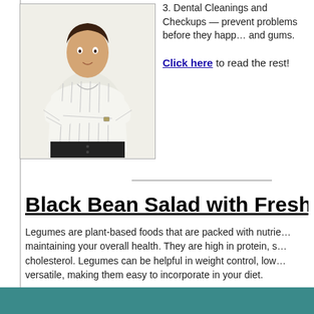[Figure (photo): Woman in white striped blouse with arms crossed, upper body photo]
3. Dental Cleanings and Checkups — prevent problems before they happen and gums.
Click here to read the rest!
Black Bean Salad with Fresh
Legumes are plant-based foods that are packed with nutrients essential to maintaining your overall health. They are high in protein, saturated fat and cholesterol. Legumes can be helpful in weight control, lowering and are very versatile, making them easy to incorporate in your diet.
This month we've included an easy-to-make salad that can be served as a great side to any dinner.
Click here for the recipe!